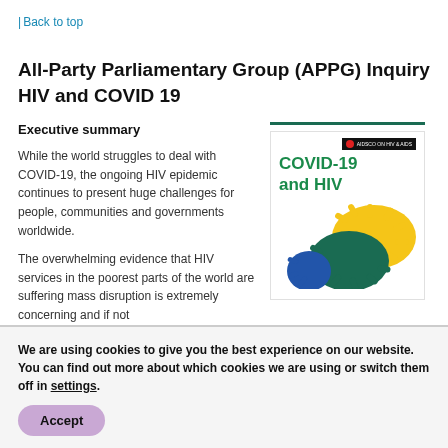| Back to top
All-Party Parliamentary Group (APPG) Inquiry HIV and COVID 19
Executive summary
[Figure (illustration): Book cover showing 'COVID-19 and HIV' title with coronavirus illustration in green, yellow, and blue on white background with a dark green horizontal line at top and small red/black logo in upper right corner.]
While the world struggles to deal with COVID-19, the ongoing HIV epidemic continues to present huge challenges for people, communities and governments worldwide.
The overwhelming evidence that HIV services in the poorest parts of the world are suffering mass disruption is extremely concerning and if not
We are using cookies to give you the best experience on our website. You can find out more about which cookies we are using or switch them off in settings.